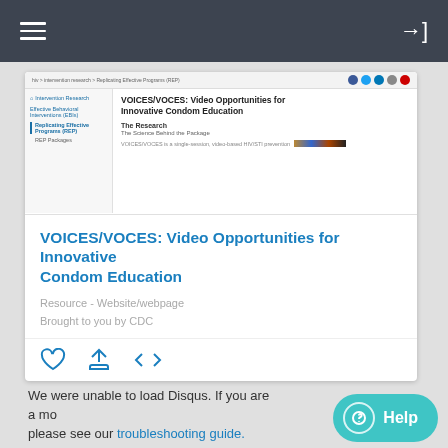Navigation bar with hamburger menu and login icon
[Figure (screenshot): Screenshot of CDC website showing VOICES/VOCES intervention research page with sidebar navigation and content preview]
VOICES/VOCES: Video Opportunities for Innovative Condom Education
Resource - Website/webpage
Brought to you by CDC
We were unable to load Disqus. If you are a moderator please see our troubleshooting guide.